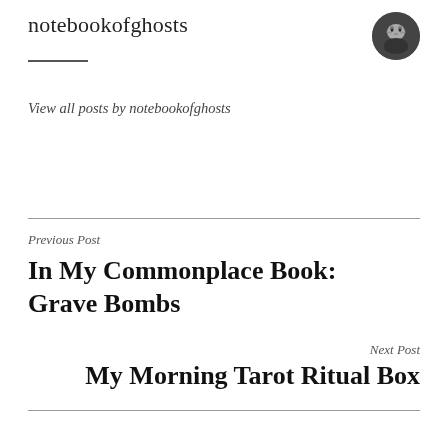notebookofghosts
View all posts by notebookofghosts
Previous Post
In My Commonplace Book: Grave Bombs
Next Post
My Morning Tarot Ritual Box